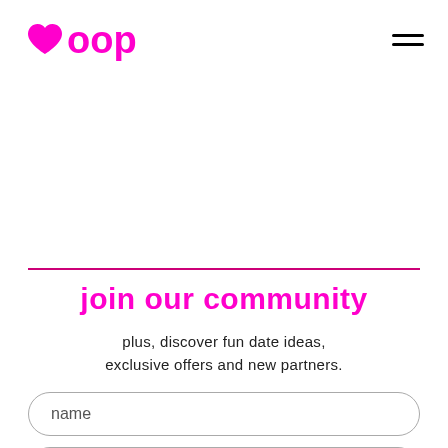boop
join our community
plus, discover fun date ideas, exclusive offers and new partners.
name
email
JOIN NOW